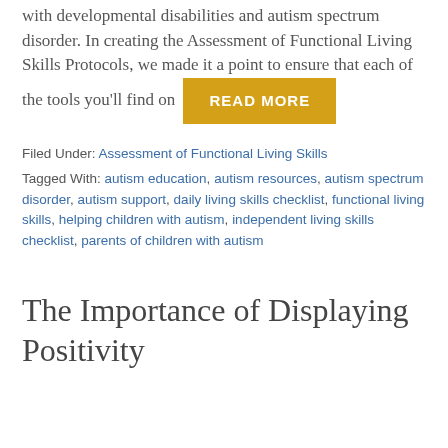with developmental disabilities and autism spectrum disorder. In creating the Assessment of Functional Living Skills Protocols, we made it a point to ensure that each of the tools you'll find on
READ MORE
Filed Under: Assessment of Functional Living Skills
Tagged With: autism education, autism resources, autism spectrum disorder, autism support, daily living skills checklist, functional living skills, helping children with autism, independent living skills checklist, parents of children with autism
The Importance of Displaying Positivity